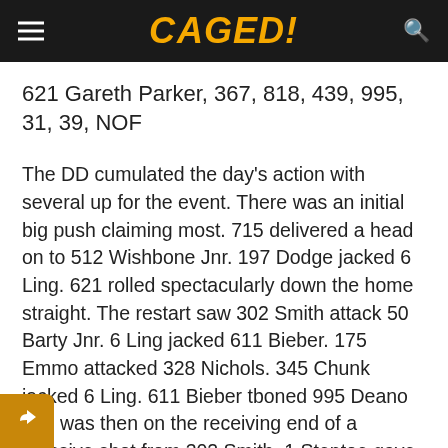CAGED!
621 Gareth Parker, 367, 818, 439, 995, 31, 39, NOF
The DD cumulated the day's action with several up for the event. There was an initial big push claiming most. 715 delivered a head on to 512 Wishbone Jnr. 197 Dodge jacked 6 Ling. 621 rolled spectacularly down the home straight. The restart saw 302 Smith attack 50 Barty Jnr. 6 Ling jacked 611 Bieber. 175 Emmo attacked 328 Nichols. 345 Chunk jacked 6 Ling. 611 Bieber tboned 995 Deano and was then on the receiving end of a massive shot from 302 Smith. 1 Steptoe gave a head on to 433 Smith, who ped a tboned in turn from brother-in-law 247 Bro